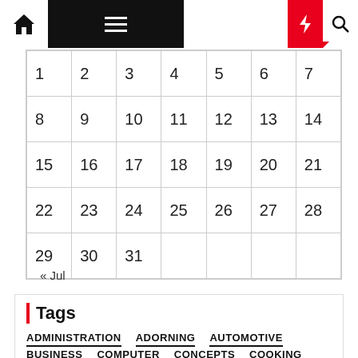Navigation bar with home, menu, moon, bolt, search icons
| 1 | 2 | 3 | 4 | 5 | 6 | 7 |
| 8 | 9 | 10 | 11 | 12 | 13 | 14 |
| 15 | 16 | 17 | 18 | 19 | 20 | 21 |
| 22 | 23 | 24 | 25 | 26 | 27 | 28 |
| 29 | 30 | 31 |  |  |  |  |
« Jul
Tags
ADMINISTRATION
ADORNING
AUTOMOTIVE
BUSINESS
COMPUTER
CONCEPTS
COOKING